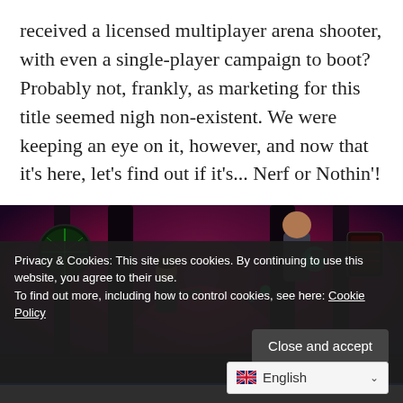received a licensed multiplayer arena shooter, with even a single-player campaign to boot? Probably not, frankly, as marketing for this title seemed nigh non-existent. We were keeping an eye on it, however, and now that it's here, let's find out if it's... Nerf or Nothin'!
[Figure (screenshot): Screenshot from a multiplayer arena shooter video game showing colorful sci-fi environment with characters in combat, purple and red lighting]
Privacy & Cookies: This site uses cookies. By continuing to use this website, you agree to their use.
To find out more, including how to control cookies, see here: Cookie Policy
Close and accept
English